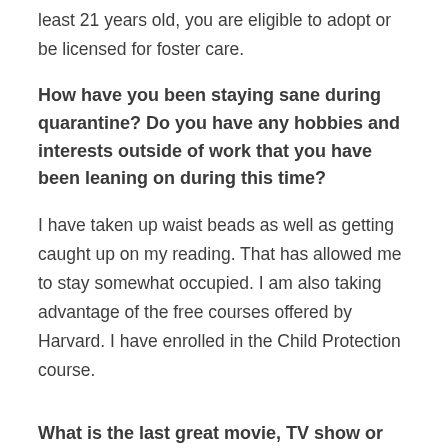least 21 years old, you are eligible to adopt or be licensed for foster care.
How have you been staying sane during quarantine? Do you have any hobbies and interests outside of work that you have been leaning on during this time?
I have taken up waist beads as well as getting caught up on my reading. That has allowed me to stay somewhat occupied. I am also taking advantage of the free courses offered by Harvard. I have enrolled in the Child Protection course.
What is the last great movie, TV show or